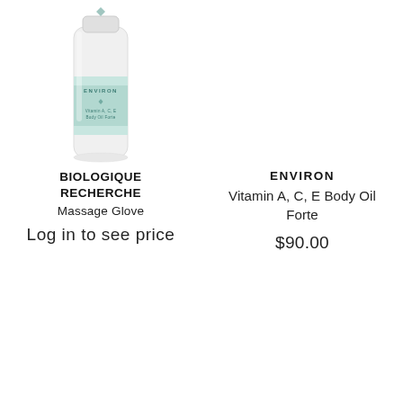[Figure (photo): Product photo of Environ Vitamin A, C, E Body Oil Forte bottle — a white cylindrical bottle with a mint/teal label band showing the Environ logo and diamond mark at top]
BIOLOGIQUE RECHERCHE
Massage Glove
Log in to see price
ENVIRON
Vitamin A, C, E Body Oil Forte
$90.00